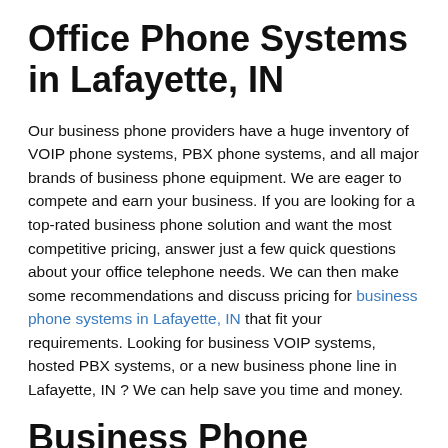Office Phone Systems in Lafayette, IN
Our business phone providers have a huge inventory of VOIP phone systems, PBX phone systems, and all major brands of business phone equipment. We are eager to compete and earn your business. If you are looking for a top-rated business phone solution and want the most competitive pricing, answer just a few quick questions about your office telephone needs. We can then make some recommendations and discuss pricing for business phone systems in Lafayette, IN that fit your requirements. Looking for business VOIP systems, hosted PBX systems, or a new business phone line in Lafayette, IN ? We can help save you time and money.
Business Phone Systems in